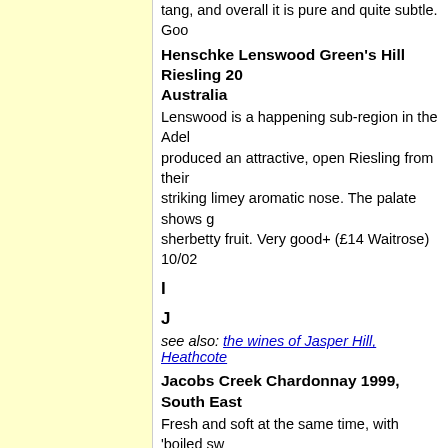tang, and overall it is pure and quite subtle. Goo
Henschke Lenswood Green's Hill Riesling 20... Australia
Lenswood is a happening sub-region in the Adel... produced an attractive, open Riesling from their striking limey aromatic nose. The palate shows s... sherbetty fruit. Very good+ (£14 Waitrose) 10/02
I
J
see also: the wines of Jasper Hill, Heathcote
Jacobs Creek Chardonnay 1999, South East...
Fresh and soft at the same time, with 'boiled sw... Industrial stuff, but reliable enough. Not really re... (Sainsbury £4.99) 2/00
Trevor Jones Virgin Chardonnay 2001, Baros...
Unoaked, this has a richly tropical fruited nose. ... with sweet fruit and a rich texture. Attractive in a... good+ (01/02)
K
see also: Kaesrstain Langwood Vineyards, Sout...